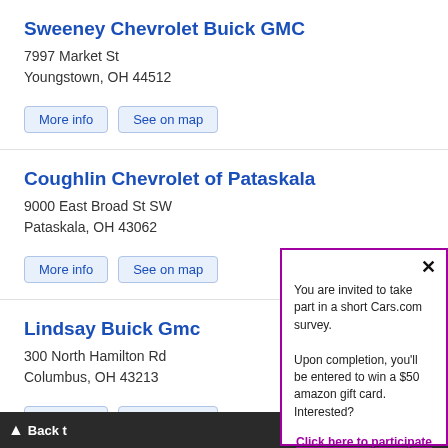Sweeney Chevrolet Buick GMC
7997 Market St
Youngstown, OH 44512
Coughlin Chevrolet of Pataskala
9000 East Broad St SW
Pataskala, OH 43062
Lindsay Buick Gmc
300 North Hamilton Rd
Columbus, OH 43213
Mark Wahlberg Buick GMC
3895 West Broad Street
Columbus, OH 43228
Research Request
You are invited to take part in a short Cars.com survey.

Upon completion, you'll be entered to win a $50 amazon gift card. Interested?

Click here to participate